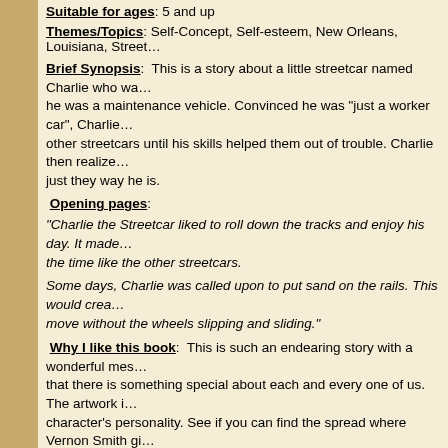Suitable for ages: 5 and up
Themes/Topics: Self-Concept, Self-esteem, New Orleans, Louisiana, Street...
Brief Synopsis: This is a story about a little streetcar named Charlie who wa... he was a maintenance vehicle. Convinced he was "just a worker car", Charlie... other streetcars until his skills helped them out of trouble. Charlie then realize... just they way he is.
Opening pages:
"Charlie the Streetcar liked to roll down the tracks and enjoy his day. It made... the time like the other streetcars.
Some days, Charlie was called upon to put sand on the rails. This would crea... move without the wheels slipping and sliding."
Why I like this book: This is such an endearing story with a wonderful mes... that there is something special about each and every one of us. The artwork i... character's personality. See if you can find the spread where Vernon Smith gi... first book we both published with Pelican; he as the illustrator.
In the back matter Smith gives a brief history about New Orleans streetcars a...
Resources:
Learn more here about New Orleans Streetcars. And if you are ever in t...